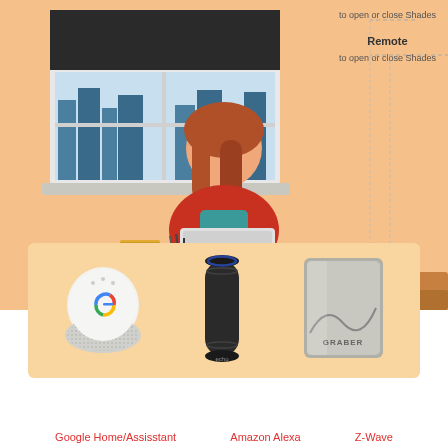[Figure (infographic): Smart home infographic showing a woman at a desk with window blinds/shades, a Google Home device on the desk, remote controls. Dashed lines connect to labels 'Remote to open or close Shades'. Text partially visible at top: 'to open or close Shades'. A red Shop Now button overlays the desk area.]
to open or close Shades
Remote
to open or close Shades
Shop Now
[Figure (photo): Google Home smart speaker device (white dome shape with colored G logo)]
[Figure (photo): Amazon Echo (Alexa) smart speaker device (tall black cylinder)]
[Figure (photo): Graber Z-Wave remote/controller device (grey rectangular device with wave pattern and GRABER text)]
Google Home/Assisstant
Amazon Alexa
Z-Wave